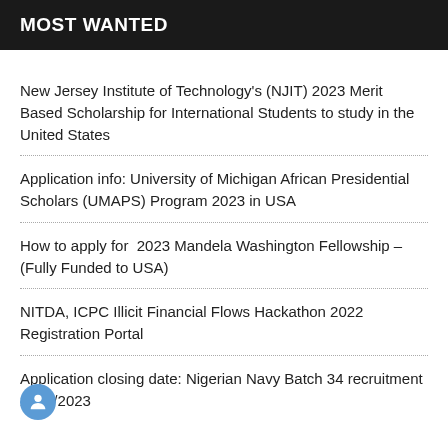MOST WANTED
New Jersey Institute of Technology's (NJIT) 2023 Merit Based Scholarship for International Students to study in the United States
Application info: University of Michigan African Presidential Scholars (UMAPS) Program 2023 in USA
How to apply for  2023 Mandela Washington Fellowship – (Fully Funded to USA)
NITDA, ICPC Illicit Financial Flows Hackathon 2022 Registration Portal
Application closing date: Nigerian Navy Batch 34 recruitment 2022/2023